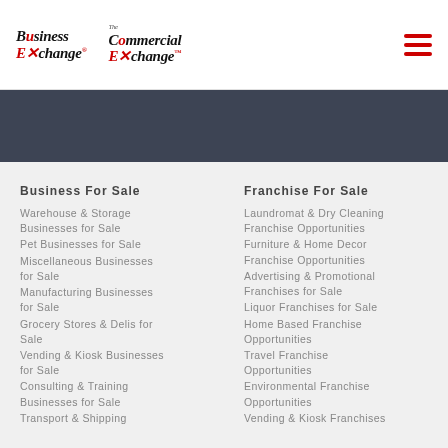Business Exchange | The Commercial Exchange
Business For Sale
Warehouse & Storage Businesses for Sale
Pet Businesses for Sale
Miscellaneous Businesses for Sale
Manufacturing Businesses for Sale
Grocery Stores & Delis for Sale
Vending & Kiosk Businesses for Sale
Consulting & Training Businesses for Sale
Transport & Shipping
Franchise For Sale
Laundromat & Dry Cleaning Franchise Opportunities
Furniture & Home Decor Franchise Opportunities
Advertising & Promotional Franchises for Sale
Liquor Franchises for Sale
Home Based Franchise Opportunities
Travel Franchise Opportunities
Environmental Franchise Opportunities
Vending & Kiosk Franchises